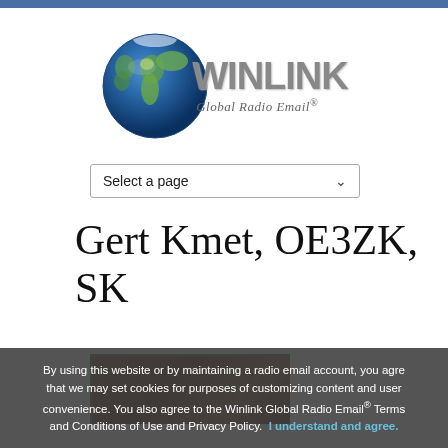[Figure (logo): Winlink Global Radio Email logo with globe and stylized text]
Select a page
Gert Kmet, OE3ZK, SK
[Figure (photo): Partial photo of a person, partially obscured by cookie banner]
By using this website or by maintaining a radio email account, you agree that we may set cookies for purposes of customizing content and user convenience. You also agree to the Winlink Global Radio Email® Terms and Conditions of Use and Privacy Policy. I understand and agree.